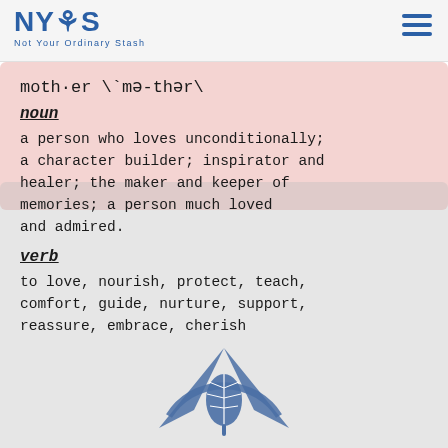NYOS - Not Your Ordinary Stash
moth·er \`mə-thər\
noun
a person who loves unconditionally; a character builder; inspirator and healer; the maker and keeper of memories; a person much loved and admired.
verb
to love, nourish, protect, teach, comfort, guide, nurture, support, reassure, embrace, cherish
[Figure (logo): NYOS cannabis brand logo — stylized cannabis leaf with wing-like symmetrical shapes in steel blue]